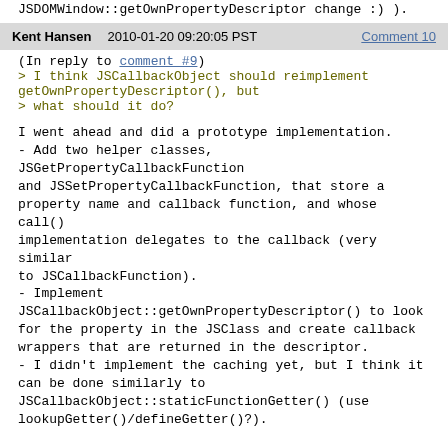JSDOMWindow::getOwnPropertyDescriptor change :) ).
Kent Hansen   2010-01-20 09:20:05 PST   Comment 10
(In reply to comment #9)
> I think JSCallbackObject should reimplement getOwnPropertyDescriptor(), but
> what should it do?
I went ahead and did a prototype implementation.
- Add two helper classes, JSGetPropertyCallbackFunction and JSSetPropertyCallbackFunction, that store a property name and callback function, and whose call() implementation delegates to the callback (very similar to JSCallbackFunction).
- Implement JSCallbackObject::getOwnPropertyDescriptor() to look for the property in the JSClass and create callback wrappers that are returned in the descriptor.
- I didn't implement the caching yet, but I think it can be done similarly to JSCallbackObject::staticFunctionGetter() (use lookupGetter()/defineGetter()?).

With that, I'm able to introspect JSClass-based objects from JS using Object.getOwnPropertyDescriptor.

I can spin off a task and post the patch there if the above approach seems reasonable.